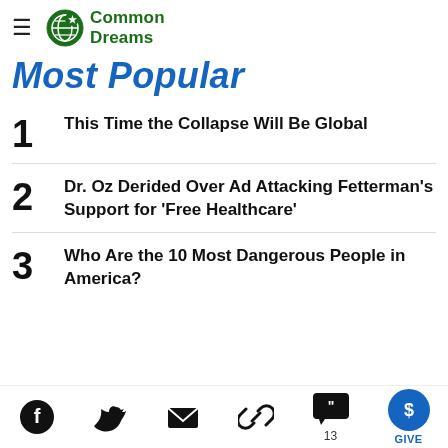Common Dreams
Most Popular
1 This Time the Collapse Will Be Global
2 Dr. Oz Derided Over Ad Attacking Fetterman's Support for 'Free Healthcare'
3 Who Are the 10 Most Dangerous People in America?
Social share icons: Facebook, Twitter, Email, Link, Comments (13), Give